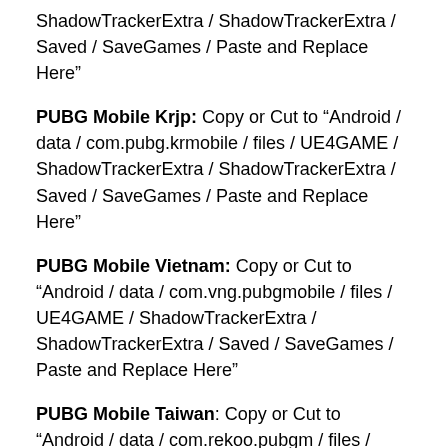ShadowTrackerExtra / ShadowTrackerExtra / Saved / SaveGames / Paste and Replace Here”
PUBG Mobile Krjp: Copy or Cut to “Android / data / com.pubg.krmobile / files / UE4GAME / ShadowTrackerExtra / ShadowTrackerExtra / Saved / SaveGames / Paste and Replace Here”
PUBG Mobile Vietnam: Copy or Cut to “Android / data / com.vng.pubgmobile / files / UE4GAME / ShadowTrackerExtra / ShadowTrackerExtra / Saved / SaveGames / Paste and Replace Here”
PUBG Mobile Taiwan: Copy or Cut to “Android / data / com.rekoo.pubgm / files / UE4GAME / ShadowTrackerExtra / ShadowTrackerExtra / Saved / SaveGames / Paste and Replace Here”